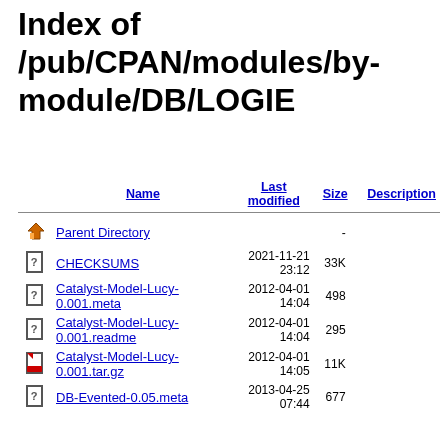Index of /pub/CPAN/modules/by-module/DB/LOGIE
|  | Name | Last modified | Size | Description |
| --- | --- | --- | --- | --- |
| [back] | Parent Directory |  | - |  |
| [?] | CHECKSUMS | 2021-11-21 23:12 | 33K |  |
| [?] | Catalyst-Model-Lucy-0.001.meta | 2012-04-01 14:04 | 498 |  |
| [?] | Catalyst-Model-Lucy-0.001.readme | 2012-04-01 14:04 | 295 |  |
| [tgz] | Catalyst-Model-Lucy-0.001.tar.gz | 2012-04-01 14:05 | 11K |  |
| [?] | DB-Evented-0.05.meta | 2013-04-25 07:44 | 677 |  |